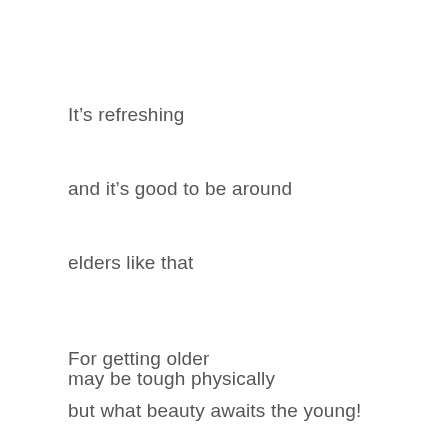It's refreshing
and it's good to be around
elders like that
For getting older
may be tough physically
but what beauty awaits the young!